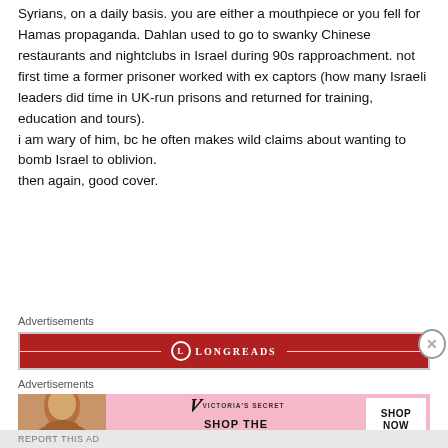Syrians, on a daily basis. you are either a mouthpiece or you fell for Hamas propaganda. Dahlan used to go to swanky Chinese restaurants and nightclubs in Israel during 90s rapproachment. not first time a former prisoner worked with ex captors (how many Israeli leaders did time in UK-run prisons and returned for training, education and tours).
i am wary of him, bc he often makes wild claims about wanting to bomb Israel to oblivion.
then again, good cover.
Advertisements
[Figure (other): Longreads advertisement banner in red with white logo]
Advertisements
[Figure (other): Victoria's Secret advertisement banner in pink with model photo, 'SHOP THE COLLECTION' text and 'SHOP NOW' button]
REPORT THIS AD